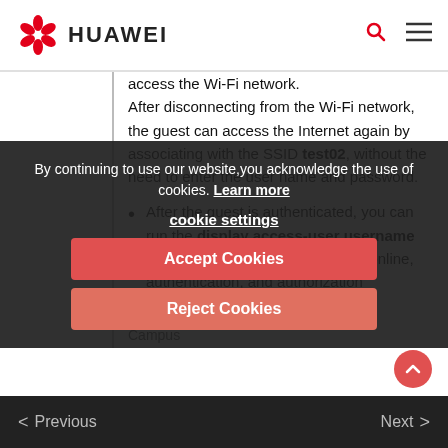HUAWEI
access the Wi-Fi network. After disconnecting from the Wi-Fi network, the guest can access the Internet again by associating with the SSID test02, without the need to enter the user name and password.
After the guest is authenticated, you can run the display access-user username command on CORE to check the online, authentication, and authorization information of the guest.
Campus
By continuing to use our website, you acknowledge the use of cookies. Learn more
cookie settings
Accept Cookies
Reject Cookies
< Previous   Next >